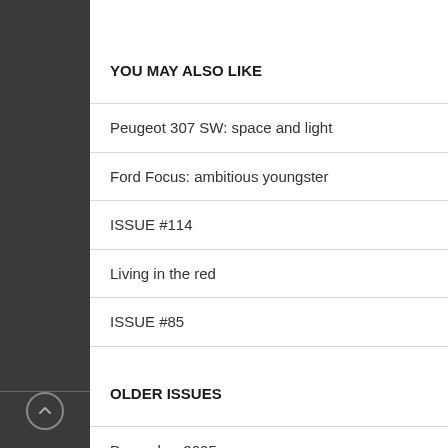YOU MAY ALSO LIKE
Peugeot 307 SW: space and light
Ford Focus: ambitious youngster
ISSUE #114
Living in the red
ISSUE #85
OLDER ISSUES
December 2005